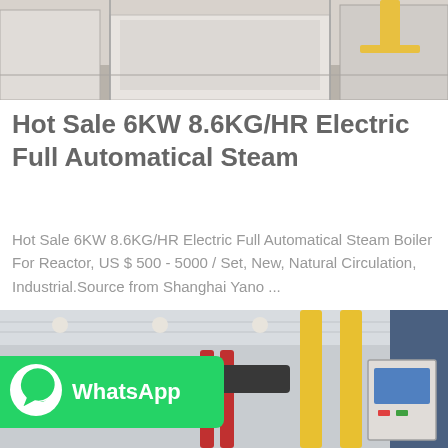[Figure (photo): Industrial boiler room interior with equipment visible, partial view at top of page]
Hot Sale 6KW 8.6KG/HR Electric Full Automatical Steam
Hot Sale 6KW 8.6KG/HR Electric Full Automatical Steam Boiler For Reactor, US $ 500 - 5000 / Set, New, Natural Circulation, Industrial.Source from Shanghai Yano ...
[Figure (photo): Industrial boiler/pipe system interior with yellow pipes, red pipes, black pipes and control panel visible]
[Figure (logo): WhatsApp green badge with phone icon and WhatsApp text label]